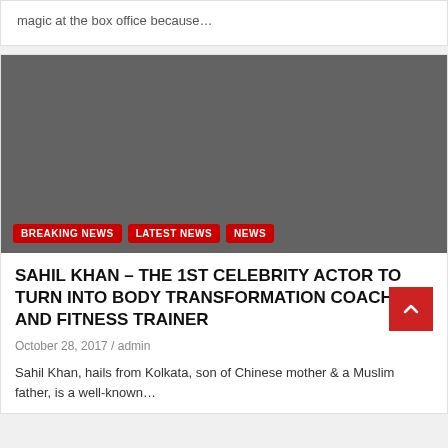magic at the box office because…
[Figure (photo): Dark gray placeholder image for article about Sahil Khan with category tags BREAKING NEWS, LATEST NEWS, NEWS overlaid at bottom left]
SAHIL KHAN – THE 1ST CELEBRITY ACTOR TO TURN INTO BODY TRANSFORMATION COACH AND FITNESS TRAINER
October 28, 2017 / admin
Sahil Khan, hails from Kolkata, son of Chinese mother & a Muslim father, is a well-known…